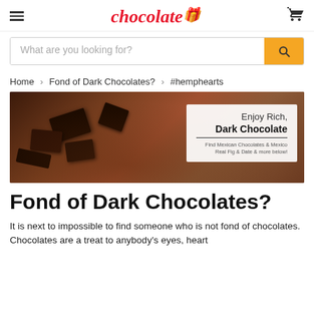chocolate [logo with gift icon] [cart icon]
What are you looking for? [search button]
Home > Fond of Dark Chocolates? > #hemphearts
[Figure (photo): Dark chocolate pieces on a dark surface with cocoa powder, with a white overlay card reading 'Enjoy Rich, Dark Chocolate. Find Mexican Chocolates & Mexico Real Fig & Date & more below!']
Fond of Dark Chocolates?
It is next to impossible to find someone who is not fond of chocolates. Chocolates are a treat to anybody's eyes, heart